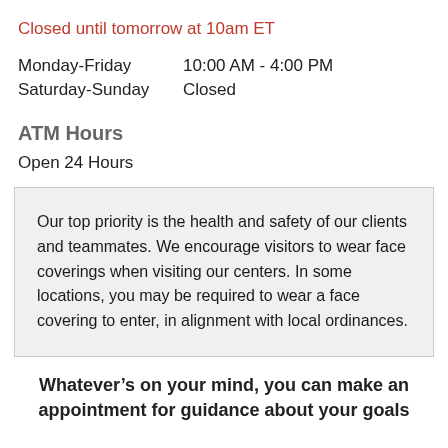Closed until tomorrow at 10am ET
| Monday-Friday | 10:00 AM - 4:00 PM |
| Saturday-Sunday | Closed |
ATM Hours
Open 24 Hours
Our top priority is the health and safety of our clients and teammates. We encourage visitors to wear face coverings when visiting our centers. In some locations, you may be required to wear a face covering to enter, in alignment with local ordinances.
Whatever’s on your mind, you can make an appointment for guidance about your goals